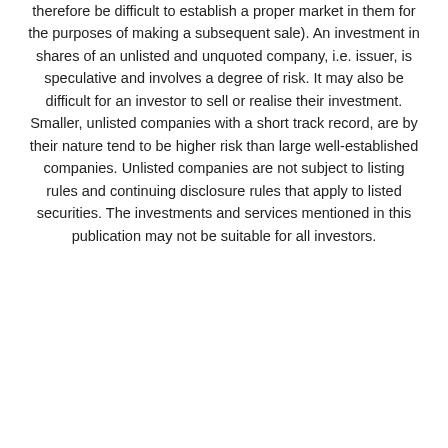therefore be difficult to establish a proper market in them for the purposes of making a subsequent sale). An investment in shares of an unlisted and unquoted company, i.e. issuer, is speculative and involves a degree of risk. It may also be difficult for an investor to sell or realise their investment. Smaller, unlisted companies with a short track record, are by their nature tend to be higher risk than large well-established companies. Unlisted companies are not subject to listing rules and continuing disclosure rules that apply to listed securities. The investments and services mentioned in this publication may not be suitable for all investors.